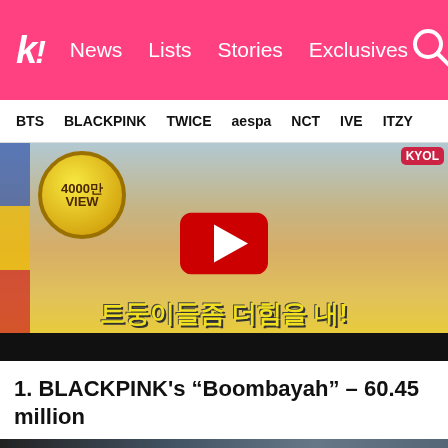Koreaboo — News | Lists | Stories | Exclusives
BTS  BLACKPINK  TWICE  aespa  NCT  IVE  ITZY
[Figure (screenshot): YouTube video thumbnail showing Korean variety show with 4000만 VIEW badge, Korean text 트둥이들좀 더힘을 내!, and red YouTube play button]
1. BLACKPINK's “Boombayah” – 60.45 million
[Figure (screenshot): Second video thumbnail showing Weekly Idol program logo with MBC/Mnet branding, partial text visible]